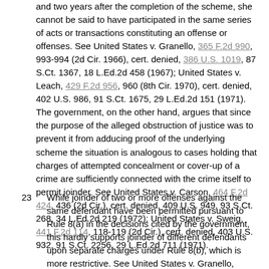and two years after the completion of the scheme, she cannot be said to have participated in the same series of acts or transactions constituting an offense or offenses. See United States v. Granello, 365 F.2d 990, 993-994 (2d Cir. 1966), cert. denied, 386 U.S. 1019, 87 S.Ct. 1367, 18 L.Ed.2d 458 (1967); United States v. Leach, 429 F.2d 956, 960 (8th Cir. 1970), cert. denied, 402 U.S. 986, 91 S.Ct. 1675, 29 L.Ed.2d 151 (1971). The government, on the other hand, argues that since the purpose of the alleged obstruction of justice was to prevent it from adducing proof of the underlying scheme the situation is analogous to cases holding that charges of attempted concealment or cover-up of a crime are sufficiently connected with the crime itself to permit joinder. See United States v. Carson, 464 F.2d 424, 436 (2d Cir.), cert. denied, 409 U.S. 949, 93 S.Ct. 268, 34 L.Ed.2d 219 (1972); United States v. Sweig, 441 F.2d 114, 118-119 (2d Cir.), cert. denied, 403 U.S. 932, 91 S.Ct. 2256, 29 L.Ed.2d 711 (1971).
23 While joinder of two or more offenses against the same defendant have been permitted pursuant to Rule 8(a) in the decisions cited by the government, this hardly supports joinder of different defendants upon separate charges under Rule 8(b), which is more restrictive. See United States v. Granello, supra, 365 F.2d at pp. 993-994. However, we need not decide this difficult question in the present